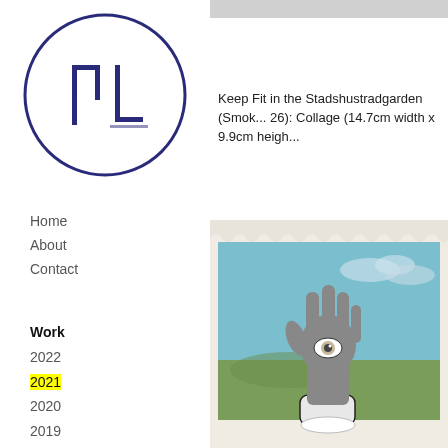[Figure (logo): Circular stamp/logo with letters M and L in dark blue/navy, with a circular border]
Keep Fit in the Stadshustradgarden (Smok... 26): Collage (14.7cm width x 9.9cm heigh...
Home
About
Contact
Work
2022
2021
2020
2019
2018
2017
2016
2015
[Figure (illustration): Collage artwork showing a hand raised with an eye in the palm, set against a blue sky and green landscape background, vintage postcard style]